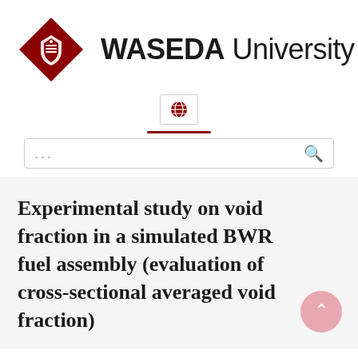[Figure (logo): Waseda University logo: dark red diamond shape with white crest icon, next to bold sans-serif text reading 'WASEDA University']
[Figure (other): Globe icon button in a small bordered box, centered on page]
[Figure (other): Dark red horizontal divider line, centered]
[Figure (other): Search bar with ellipsis placeholder and magnifying glass icon]
Experimental study on void fraction in a simulated BWR fuel assembly (evaluation of cross-sectional averaged void fraction)